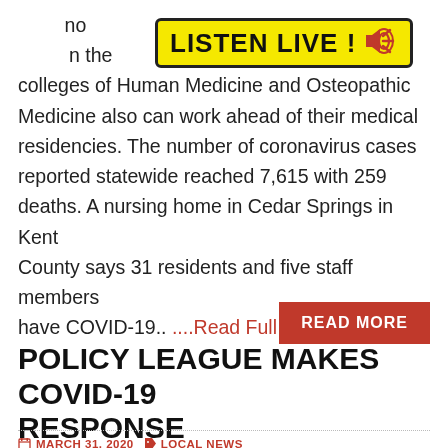[Figure (other): Listen Live banner with yellow background, bold black text 'LISTEN LIVE !' and a red speaker icon with sound waves]
has ci... no usually... in the colleges of Human Medicine and Osteopathic Medicine also can work ahead of their medical residencies. The number of coronavirus cases reported statewide reached 7,615 with 259 deaths. A nursing home in Cedar Springs in Kent County says 31 residents and five staff members have COVID-19.. ....Read Full Story
[Figure (other): Red 'READ MORE' button]
POLICY LEAGUE MAKES COVID-19 RESPONSE RECOMMENDATIONS
MARCH 31, 2020  LOCAL NEWS